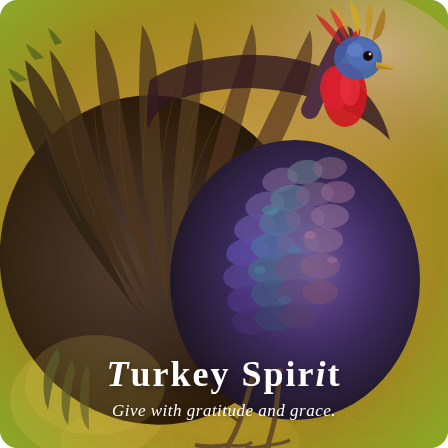[Figure (illustration): A highly detailed, colorful painting of a wild turkey in full display pose. The turkey has iridescent dark brown, purple, and blue feathers fanned out dramatically. The head is blue with a red wattle/snood. Gold, olive, and pink background with decorative mandala patterns in the lower portion. The turkey fills most of the card vertically.]
Turkey Spirit
Give with gratitude and grace.